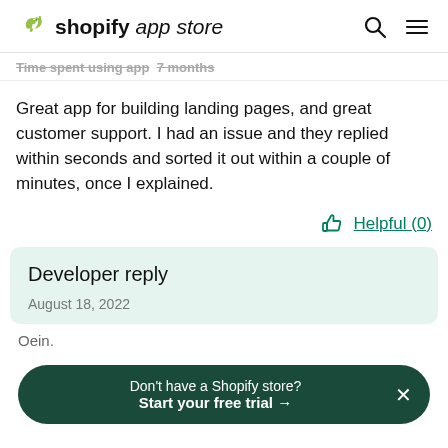shopify app store
Time spent using app   7 months
Great app for building landing pages, and great customer support. I had an issue and they replied within seconds and sorted it out within a couple of minutes, once I explained.
Helpful (0)
Developer reply
August 18, 2022
Don't have a Shopify store? Start your free trial →
Oein.